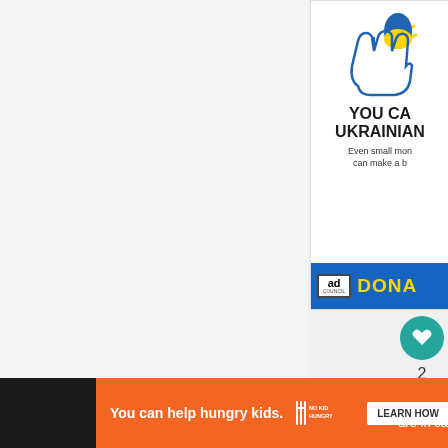[Figure (screenshot): Partial screenshot of a web page. Top-right shows a Ukraine charity ad banner with a hand holding a Ukrainian flag icon, text 'YOU CA... UKRAINIAN...' and 'Even small mon... can make a b...' with Ad Council logo and 'DONA...' button in blue. Center-right shows social interaction buttons: a teal heart/like button, a count of 2, and a share button. Bottom shows a dark bar with an orange ad for No Kid Hungry: 'You can help hungry kids.' with LEARN HOW button and partial text 'are in ca...' on the right.]
[Figure (infographic): Ukraine charity advertisement: hand holding Ukrainian flag (blue and yellow), bold text 'YOU CA... UKRAINIAN...', subtext 'Even small mon... can make a b...', Ad Council logo, yellow 'DONA...' text on blue background.]
[Figure (infographic): No Kid Hungry advertisement banner: orange background, white text 'You can help hungry kids.', No Kid Hungry logo, white 'LEARN HOW' button.]
2
are in ca...